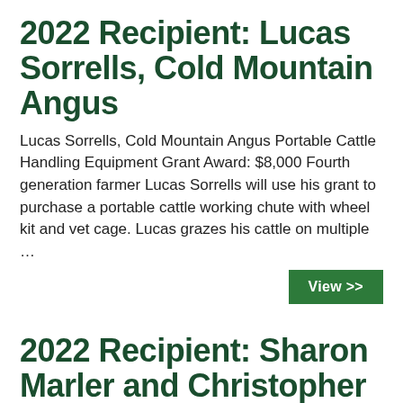2022 Recipient: Lucas Sorrells, Cold Mountain Angus
Lucas Sorrells, Cold Mountain Angus Portable Cattle Handling Equipment Grant Award: $8,000 Fourth generation farmer Lucas Sorrells will use his grant to purchase a portable cattle working chute with wheel kit and vet cage. Lucas grazes his cattle on multiple …
View >>
2022 Recipient: Sharon Marler and Christopher Scott Brazil, Blue Winter Farm